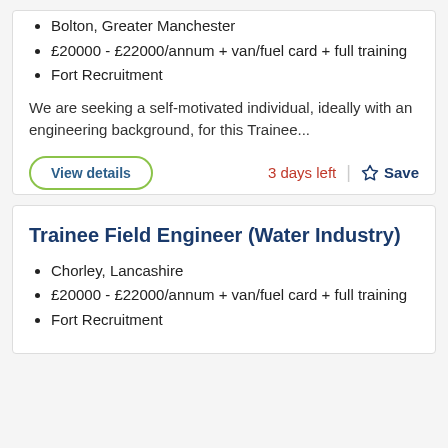Bolton, Greater Manchester
£20000 - £22000/annum + van/fuel card + full training
Fort Recruitment
We are seeking a self-motivated individual, ideally with an engineering background, for this Trainee...
Trainee Field Engineer (Water Industry)
Chorley, Lancashire
£20000 - £22000/annum + van/fuel card + full training
Fort Recruitment